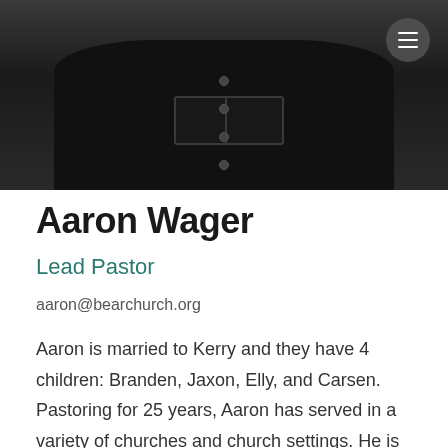[Figure (photo): Black and white photo of Aaron Wager from the chest up, wearing a dark button-up shirt with chest pockets. A circular menu button (hamburger icon) is visible in the top right corner.]
Aaron Wager
Lead Pastor
aaron@bearchurch.org
Aaron is married to Kerry and they have 4 children: Branden, Jaxon, Elly, and Carsen. Pastoring for 25 years, Aaron has served in a variety of churches and church settings. He is passionate about creating a safe, welcoming environment for people...